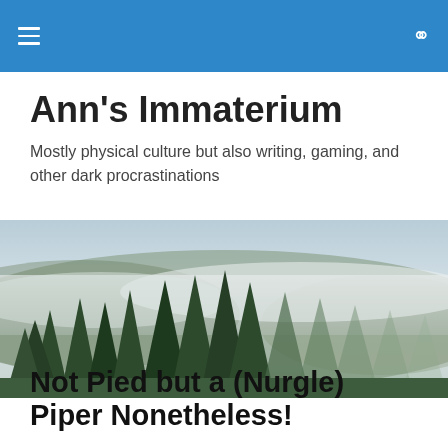Ann's Immaterium — navigation bar
Ann's Immaterium
Mostly physical culture but also writing, gaming, and other dark procrastinations
[Figure (photo): Foggy forest landscape with tall evergreen pine trees and low-lying mist among the hills]
Not Pied but a (Nurgle) Piper Nonetheless!
I haven't been...